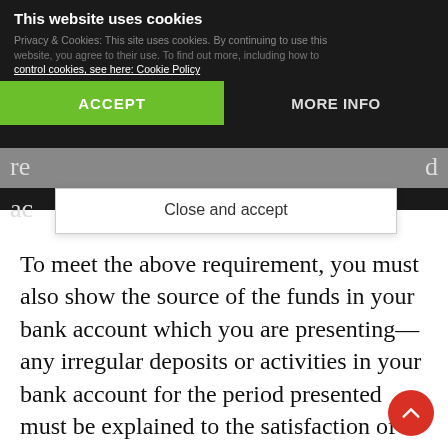[Figure (screenshot): Cookie consent banner overlay on a website. Shows 'This website uses cookies' header with Accept and More Info buttons, and a 'Close and accept' dialog box. Background shows a dark-themed website partially obscured.]
To meet the above requirement, you must also show the source of the funds in your bank account which you are presenting—any irregular deposits or activities in your bank account for the period presented must be explained to the satisfaction of the ECO.
This means, do not be depositing funds in your bank account, purposely for a visa or to dece...